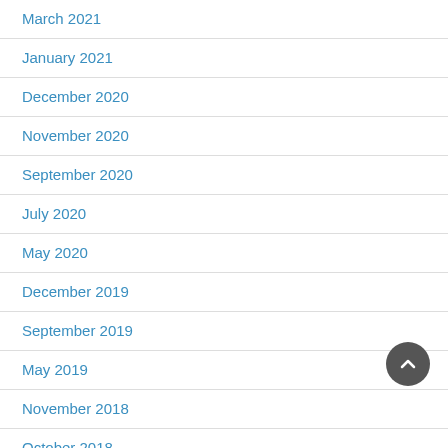March 2021
January 2021
December 2020
November 2020
September 2020
July 2020
May 2020
December 2019
September 2019
May 2019
November 2018
October 2018